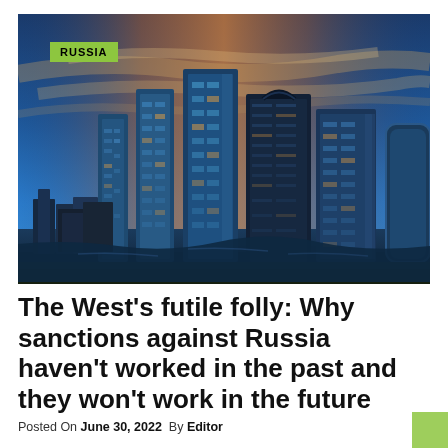[Figure (photo): Skyline of Moscow City financial district with glass skyscrapers under a dramatic blue sky with clouds, waterfront visible at bottom]
The West's futile folly: Why sanctions against Russia haven't worked in the past and they won't work in the future
Posted On June 30, 2022  By Editor